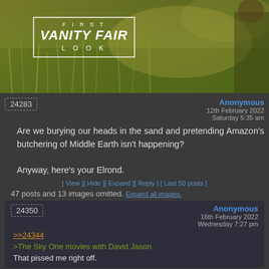[Figure (photo): Banner image showing green grass/field with 'FIRST VANITY FAIR LOOK' text overlay in white with rectangular border]
24283
Anonymous
12th February 2022
Saturday 5:35 am
Are we burying our heads in the sand and pretending Amazon's butchering of Middle Earth isn't happening?

Anyway, here's your Elrond.
[ View ][ Hide ][ Expand ][ Reply ] [ Last 50 posts ]
47 posts and 13 images omitted. Expand all images.
24350
Anonymous
16th February 2022
Wednesday 7:27 pm
>>24344
>The Sky One movies with David Jason
That pissed me right off.